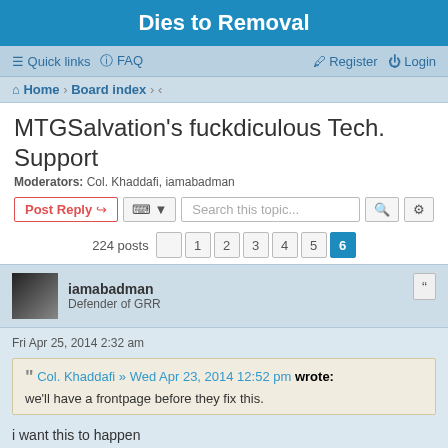Dies to Removal
Quick links  FAQ  Register  Login
Home · Board index · ‹
MTGSalvation's fuckdiculous Tech. Support
Moderators: Col. Khaddafi, iamabadman
Post Reply  Search this topic...  224 posts  1 2 3 4 5 6
iamabadman
Defender of GRR
Fri Apr 25, 2014 2:32 am
Col. Khaddafi » Wed Apr 23, 2014 12:52 pm wrote:
we'll have a frontpage before they fix this.
i want this to happen